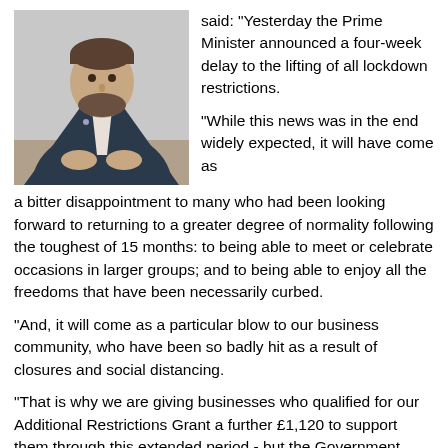[Figure (photo): Photograph of a man in a dark suit jacket and open-collar shirt, leaning forward with hands clasped on a wooden surface. He has short hair and a beard.]
said: "Yesterday the Prime Minister announced a four-week delay to the lifting of all lockdown restrictions.

"While this news was in the end widely expected, it will have come as a bitter disappointment to many who had been looking forward to returning to a greater degree of normality following the toughest of 15 months: to being able to meet or celebrate occasions in larger groups; and to being able to enjoy all the freedoms that have been necessarily curbed.

"And, it will come as a particular blow to our business community, who have been so badly hit as a result of closures and social distancing.

"That is why we are giving businesses who qualified for our Additional Restrictions Grant a further £1,120 to support them through this extended period - but the Government must also commit to topping-up the Restart Grant for our music venues, bars and nightclubs.

"We are calling on the Government to extend the current support